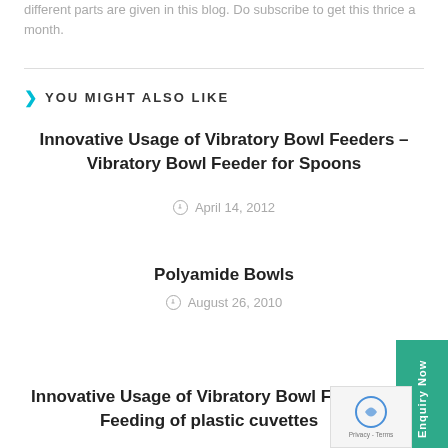different parts are given in this blog. Do subscribe to get this thrice a month.
YOU MIGHT ALSO LIKE
Innovative Usage of Vibratory Bowl Feeders – Vibratory Bowl Feeder for Spoons
April 14, 2012
Polyamide Bowls
August 26, 2010
Innovative Usage of Vibratory Bowl Feeders – Feeding of plastic cuvettes